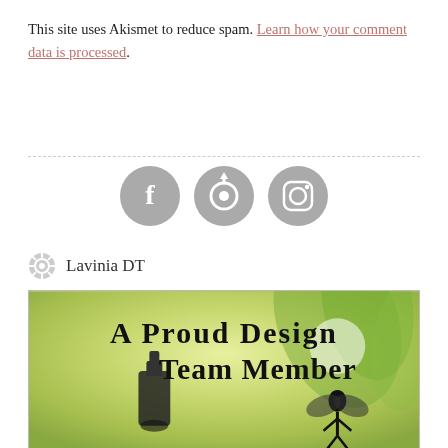This site uses Akismet to reduce spam. Learn how your comment data is processed.
[Figure (illustration): Three circular social media icon buttons (Facebook, a circular arrow/share icon, Instagram) in gray]
Lavinia DT
[Figure (illustration): A Proud Design Team Member badge image with fairy and lantern silhouette on green/yellow painterly background]